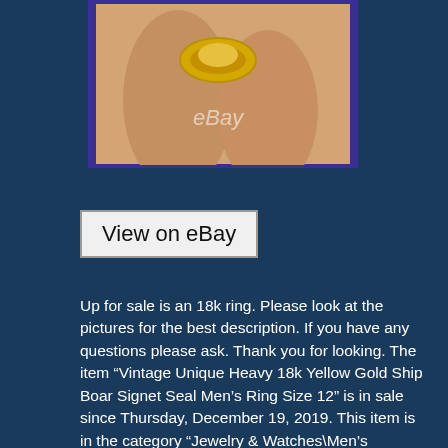[Figure (photo): Close-up photo of a gold signet ring being held between fingers, with eBay watermark text overlay, shown against a blue/purple background border]
View on eBay
Up for sale is an 18k ring. Please look at the pictures for the best description. If you have any questions please ask. Thank you for looking. The item “Vintage Unique Heavy 18k Yellow Gold Ship Boar Signet Seal Men’s Ring Size 12” is in sale since Thursday, December 19, 2019. This item is in the category “Jewelry & Watches\Men’s Jewelry\Rings”. The seller is “heapquarters4yourneeds” and is located in Aston, Pennsylvania. This item can be shipped to United States, Canada, United Kingdom, Denmark, Romania, Slovakia, Bulgaria, Czech republic, Finland, Hungary, Latvia, Lithuania, Malta, Estonia, Australia, Greece, Portugal, Cyprus, Slovenia, Japan, Sweden, South Korea,